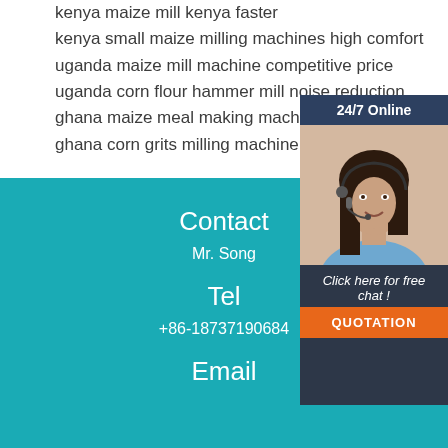kenya maize mill kenya faster
kenya small maize milling machines high comfort
uganda maize mill machine competitive price
uganda corn flour hammer mill noise reduction
ghana maize meal making machine
ghana corn grits milling machine no
[Figure (photo): Chat widget with 24/7 Online label, female customer service agent with headset, 'Click here for free chat!' text, and orange QUOTATION button]
Contact
Mr. Song
Tel
+86-18737190684
Email
[Figure (other): Orange/red dotted TOP button icon]